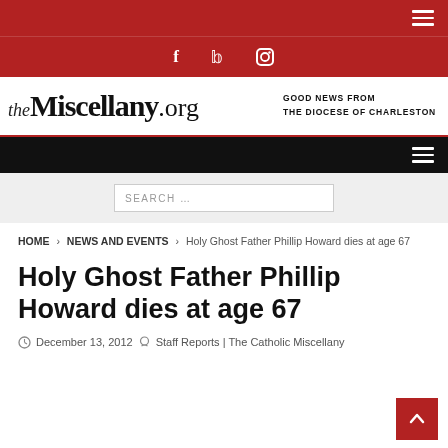[Figure (screenshot): Website header with dark red top bar and hamburger menu icon]
[Figure (screenshot): Social media icons bar (Facebook, Twitter, Instagram) on dark red background]
[Figure (logo): theMiscellany.org logo with tagline: GOOD NEWS FROM THE DIOCESE OF CHARLESTON]
[Figure (screenshot): Black navigation bar with hamburger menu icon]
[Figure (screenshot): Search bar with placeholder text SEARCH ...]
HOME > NEWS AND EVENTS > Holy Ghost Father Phillip Howard dies at age 67
Holy Ghost Father Phillip Howard dies at age 67
December 13, 2012 Staff Reports | The Catholic Miscellany